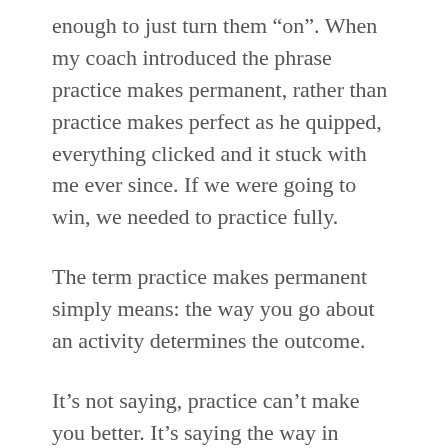enough to just turn them “on”. When my coach introduced the phrase practice makes permanent, rather than practice makes perfect as he quipped, everything clicked and it stuck with me ever since. If we were going to win, we needed to practice fully.
The term practice makes permanent simply means: the way you go about an activity determines the outcome.
It’s not saying, practice can’t make you better. It’s saying the way in which you practice will either make you better or worse.